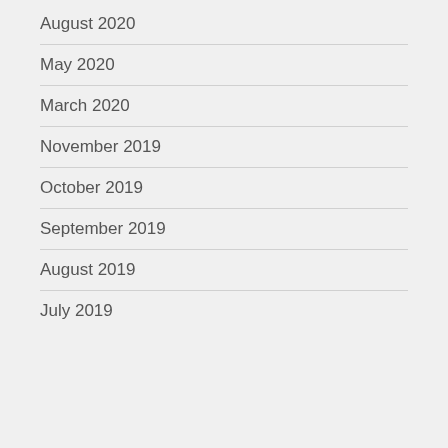August 2020
May 2020
March 2020
November 2019
October 2019
September 2019
August 2019
July 2019